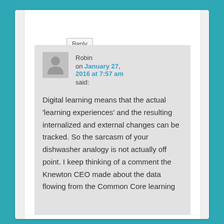Reply ↓
Robin on January 27, 2016 at 7:57 am said:
Digital learning means that the actual ‘learning experiences’ and the resulting internalized and external changes can be tracked. So the sarcasm of your dishwasher analogy is not actually off point. I keep thinking of a comment the Knewton CEO made about the data flowing from the Common Core learning